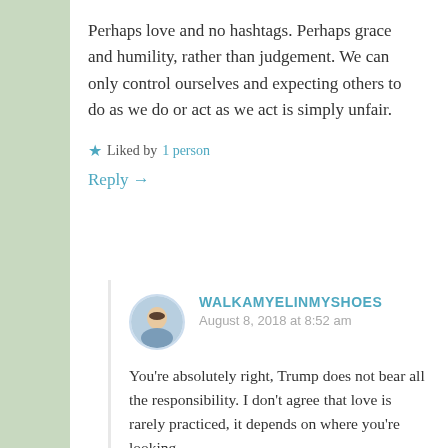Perhaps love and no hashtags. Perhaps grace and humility, rather than judgement. We can only control ourselves and expecting others to do as we do or act as we act is simply unfair.
★ Liked by 1 person
Reply →
WALKAMYELINMYSHOES
August 8, 2018 at 8:52 am
You're absolutely right, Trump does not bear all the responsibility. I don't agree that love is rarely practiced, it depends on where you're looking.
I'm not sure I follow all your arguments but